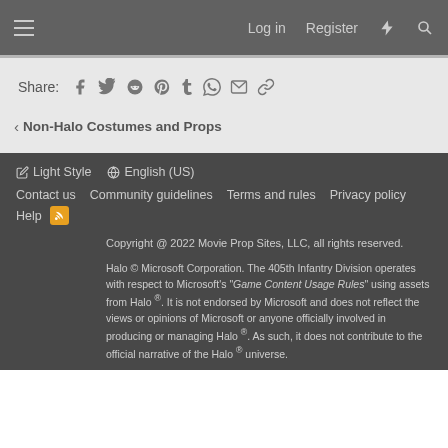Log in  Register
Share:
Non-Halo Costumes and Props
Light Style  English (US)  Contact us  Community guidelines  Terms and rules  Privacy policy  Help  Copyright @ 2022 Movie Prop Sites, LLC, all rights reserved.  Halo © Microsoft Corporation. The 405th Infantry Division operates with respect to Microsoft's "Game Content Usage Rules" using assets from Halo ®. It is not endorsed by Microsoft and does not reflect the views or opinions of Microsoft or anyone officially involved in producing or managing Halo ®. As such, it does not contribute to the official narrative of the Halo ® universe.